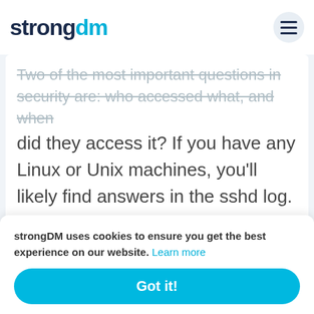How to View SSH Logs?
strongDM
Two of the most important questions in security are: who accessed what, and when did they access it? If you have any Linux or Unix machines, you'll likely find answers in the sshd log. sshd is the Secure Shell Daemon, which allows remote access to the system. In this article, we'll look at how to view ssh logs.
[Figure (illustration): Partial illustration of network/technology graphic with Docker-like container icon, robot/AI head, and network lines in blue tones]
strongDM uses cookies to ensure you get the best experience on our website. Learn more
Got it!